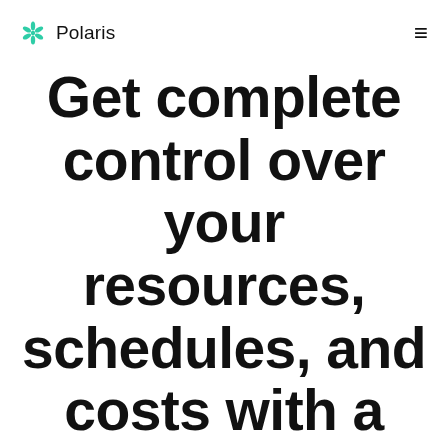Polaris
Get complete control over your resources, schedules, and costs with a unified resource management software